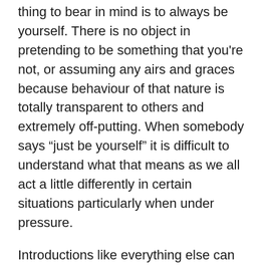thing to bear in mind is to always be yourself. There is no object in pretending to be something that you're not, or assuming any airs and graces because behaviour of that nature is totally transparent to others and extremely off-putting. When somebody says “just be yourself” it is difficult to understand what that means as we all act a little differently in certain situations particularly when under pressure.
Introductions like everything else can leave a lasting impression and women can easily be very critical about people and make unfair generalisations. Women need to feel “special”. Attention and flattery are very powerful tools to use in the courtship process.
The following are suggested openers for a first approach: